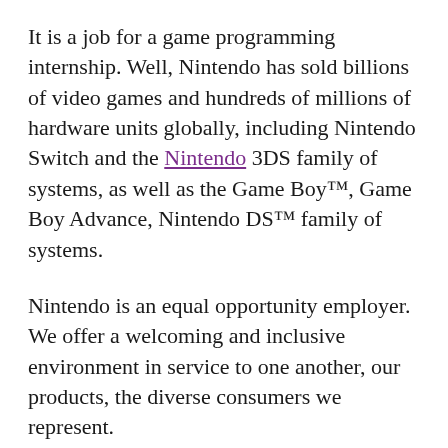It is a job for a game programming internship. Well, Nintendo has sold billions of video games and hundreds of millions of hardware units globally, including Nintendo Switch and the Nintendo 3DS family of systems, as well as the Game Boy™, Game Boy Advance, Nintendo DS™ family of systems.
Nintendo is an equal opportunity employer. We offer a welcoming and inclusive environment in service to one another, our products, the diverse consumers we represent.
As a Nintendo of America game programming Intern, you will actively contribute to